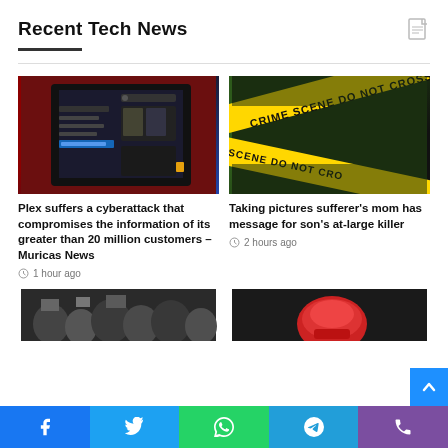Recent Tech News
[Figure (photo): Plex app interface on a tablet/phone with dark UI showing library and media content]
Plex suffers a cyberattack that compromises the information of its greater than 20 million customers – Muricas News
1 hour ago
[Figure (photo): Yellow crime scene tape crossing in front of dark green background reading CRIME SCENE DO NOT CROSS]
Taking pictures sufferer's mom has message for son's at-large killer
2 hours ago
[Figure (photo): Crowd of people at an outdoor event, partially visible at bottom of page]
[Figure (photo): Boxing glove or similar sports image, partially visible at bottom of page]